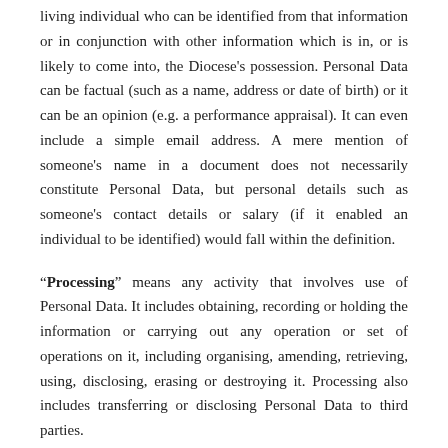living individual who can be identified from that information or in conjunction with other information which is in, or is likely to come into, the Diocese's possession. Personal Data can be factual (such as a name, address or date of birth) or it can be an opinion (e.g. a performance appraisal). It can even include a simple email address. A mere mention of someone's name in a document does not necessarily constitute Personal Data, but personal details such as someone's contact details or salary (if it enabled an individual to be identified) would fall within the definition.
"Processing" means any activity that involves use of Personal Data. It includes obtaining, recording or holding the information or carrying out any operation or set of operations on it, including organising, amending, retrieving, using, disclosing, erasing or destroying it. Processing also includes transferring or disclosing Personal Data to third parties.
"Special Categories of Personal Data" means...